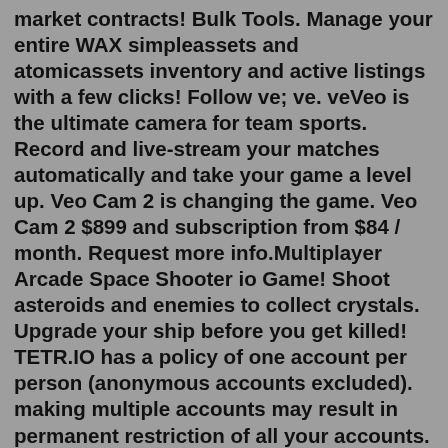market contracts! Bulk Tools. Manage your entire WAX simpleassets and atomicassets inventory and active listings with a few clicks! Follow ve; ve. veVeo is the ultimate camera for team sports. Record and live-stream your matches automatically and take your game a level up. Veo Cam 2 is changing the game. Veo Cam 2 $899 and subscription from $84 / month. Request more info.Multiplayer Arcade Space Shooter io Game! Shoot asteroids and enemies to collect crystals. Upgrade your ship before you get killed! TETR.IO has a policy of one account per person (anonymous accounts excluded). making multiple accounts may result in permanent restriction of all your accounts. read the full policy for more info. in doubt, or if you believe your usage of a second account is justified, please contact support.Note: To log in to Verio, you will need to have cookies enabled on your browser. We are committed to your privacy, and cookies enable us to provide you with a personalized experience and better service. Free: